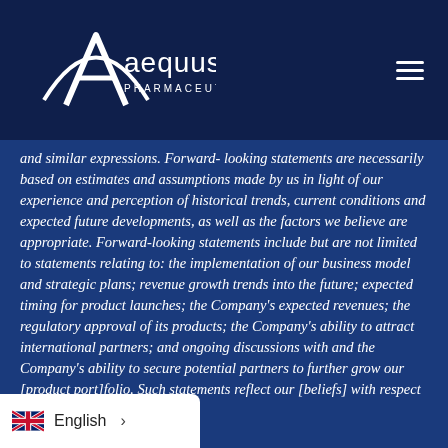[Figure (logo): Aequus Pharmaceuticals logo — white stylized 'A' with arc, text 'aequus PHARMACEUTICALS' in white on dark navy background]
and similar expressions. Forward- looking statements are necessarily based on estimates and assumptions made by us in light of our experience and perception of historical trends, current conditions and expected future developments, as well as the factors we believe are appropriate. Forward-looking statements include but are not limited to statements relating to: the implementation of our business model and strategic plans; revenue growth trends into the future; expected timing for product launches; the Company's expected revenues; the regulatory approval of its products; the Company's ability to attract international partners; and ongoing discussions with and the Company's ability to secure potential partners to further grow our [product port]folio. Such statements reflect our [beliefs] with respect to future events and
[Figure (illustration): UK flag (Union Jack) icon for English language selector]
English